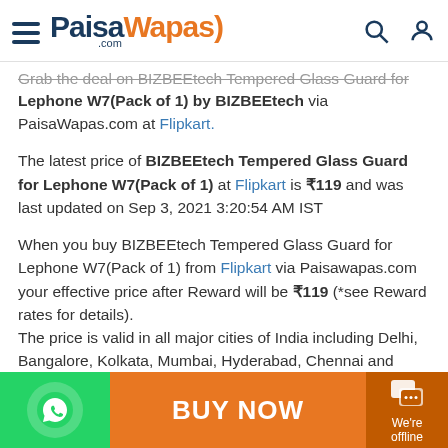PaisaWapas.com
Grab the deal on BIZBEEtech Tempered Glass Guard for Lephone W7(Pack of 1) by BIZBEEtech via PaisaWapas.com at Flipkart.
The latest price of BIZBEEtech Tempered Glass Guard for Lephone W7(Pack of 1) at Flipkart is ₹119 and was last updated on Sep 3, 2021 3:20:54 AM IST
When you buy BIZBEEtech Tempered Glass Guard for Lephone W7(Pack of 1) from Flipkart via Paisawapas.com your effective price after Reward will be ₹119 (*see Reward rates for details). The price is valid in all major cities of India including Delhi, Bangalore, Kolkata, Mumbai, Hyderabad, Chennai and Pune.
BUY NOW